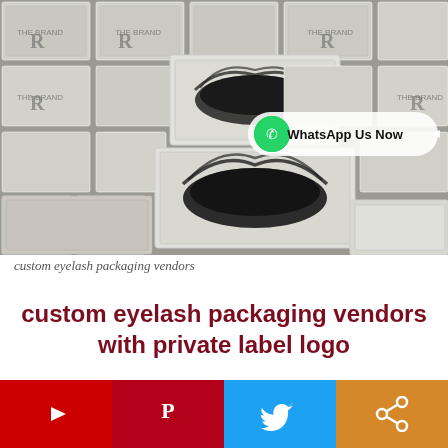[Figure (photo): Overhead photo of multiple eyelash packaging boxes arranged on a surface, with a WhatsApp Us Now button overlay in the top-right area]
custom eyelash packaging vendors
custom eyelash packaging vendors with private label logo
[Figure (infographic): Social media share bar with YouTube, Pinterest, Twitter, and Share icons]